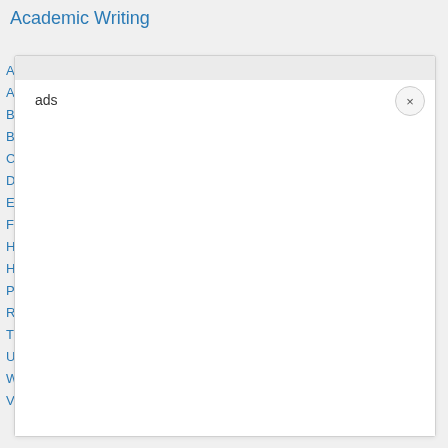Academic Writing
[Figure (screenshot): A UI screenshot showing a search modal overlay on a navigation list. The modal contains a search field with the text 'ads' and a close (x) button in the top right corner. Behind the modal, a left navigation panel shows single letters (A, A, B, B, C, D, E, F, H, H, P, R, T, U, W, V) in blue, representing alphabetical navigation items.]